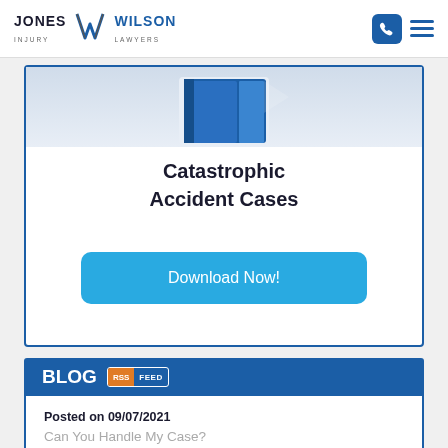[Figure (logo): Jones Wilson Injury Lawyers logo with stylized W emblem]
[Figure (illustration): Partially visible book/document with dark blue cover inside a bordered card]
Catastrophic Accident Cases
Download Now!
BLOG RSS FEED
Posted on 09/07/2021
Can You Handle My Case?